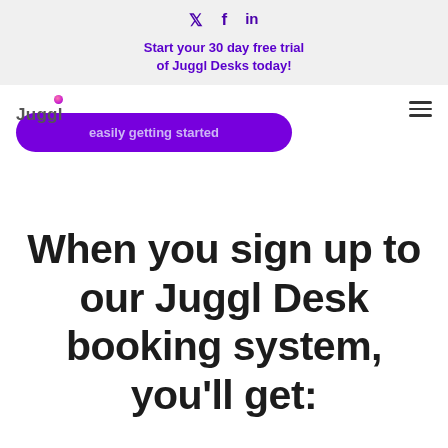[Figure (infographic): Social media icons: Twitter (bird), Facebook (f), LinkedIn (in), displayed in dark purple]
Start your 30 day free trial of Juggl Desks today!
[Figure (logo): Juggl logo with colorful dot above the J]
easily getting started
When you sign up to our Juggl Desk booking system, you'll get: